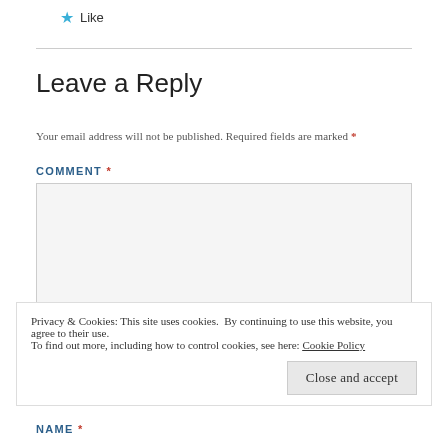★ Like
Leave a Reply
Your email address will not be published. Required fields are marked *
COMMENT *
[Figure (other): Empty comment text area input box with light grey background]
Privacy & Cookies: This site uses cookies. By continuing to use this website, you agree to their use.
To find out more, including how to control cookies, see here: Cookie Policy
Close and accept
NAME *